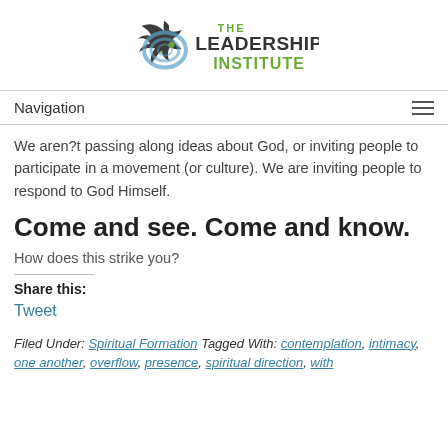[Figure (logo): The Leadership Institute logo with bird/circle graphic and green text]
Navigation
We aren?t passing along ideas about God, or inviting people to participate in a movement (or culture). We are inviting people to respond to God Himself.
Come and see. Come and know.
How does this strike you?
Share this:
Tweet
Filed Under: Spiritual Formation Tagged With: contemplation, intimacy, one another, overflow, presence, spiritual direction, with